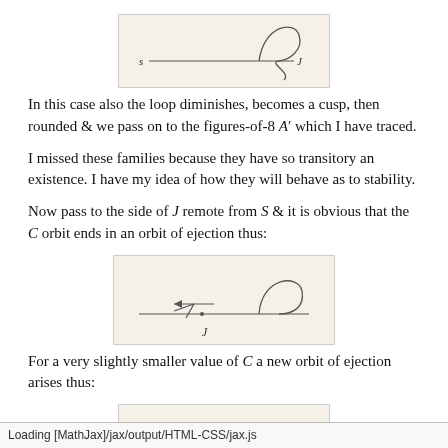[Figure (illustration): Hand-drawn sketch of a curve with a loop, labeled s on the left and J on the right]
In this case also the loop diminishes, becomes a cusp, then rounded & we pass on to the figures-of-8 A' which I have traced.
I missed these families because they have so transitory an existence. I have my idea of how they will behave as to stability.
Now pass to the side of J remote from S & it is obvious that the C orbit ends in an orbit of ejection thus:
[Figure (illustration): Hand-drawn sketch of an orbit of ejection, with arrows and label J]
For a very slightly smaller value of C a new orbit of ejection arises thus:
[Figure (illustration): Partial hand-drawn sketch at bottom of page]
Loading [MathJax]/jax/output/HTML-CSS/jax.js